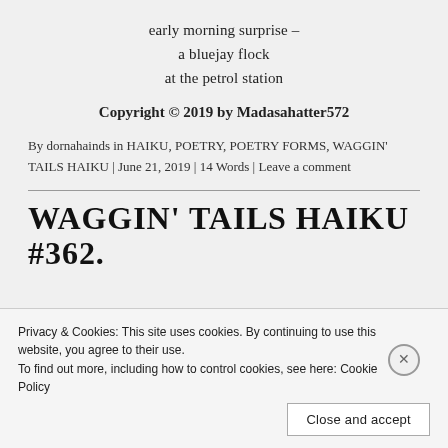early morning surprise –
a bluejay flock
at the petrol station
Copyright © 2019 by Madasahatter572
By dornahainds in HAIKU, POETRY, POETRY FORMS, WAGGIN' TAILS HAIKU | June 21, 2019 | 14 Words | Leave a comment
WAGGIN' TAILS HAIKU #362.
Privacy & Cookies: This site uses cookies. By continuing to use this website, you agree to their use.
To find out more, including how to control cookies, see here: Cookie Policy
Close and accept